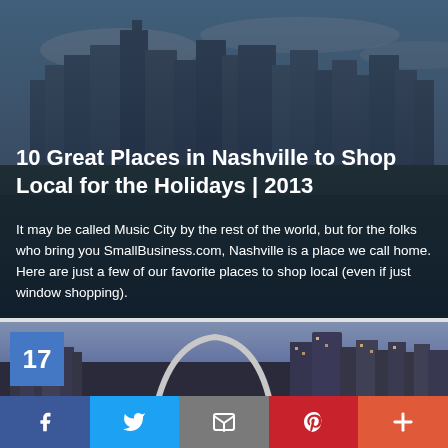[Figure (photo): Nashville city skyline panorama photo with buildings and trees]
10 Great Places in Nashville to Shop Local for the Holidays | 2013
It may be called Music City by the rest of the world, but for the folks who bring you SmallBusiness.com, Nashville is a place we call home. Here are just a few of our favorite places to shop local (even if just window shopping).
[Figure (photo): St. Louis Gateway Arch at dusk with city skyline, number badge 17 in top left corner]
[Figure (infographic): Social share bar with Facebook, Twitter, Email, Pinterest, and More buttons]